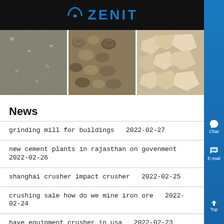ZENIT
[Figure (photo): Three stone/mineral material photos side by side: granite texture, river pebbles, and quartz rock chunks]
News
grinding mill for buildings  2022-02-27
new cement plants in rajasthan on govenment  2022-02-26
shanghai crusher impact crusher  2022-02-25
crushing sale how do we mine iron ore  2022-02-24
have equipment crusher in usa  2022-02-23
beier small crusher  2022-02-22